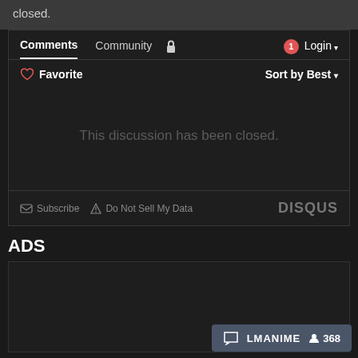closed.
Comments  Community  Login
Favorite    Sort by Best
This discussion has been closed.
Subscribe  Do Not Sell My Data  DISQUS
ADS
LMANIME  368